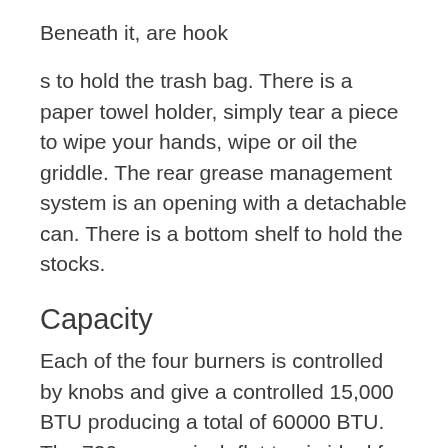Beneath it, are hook
s to hold the trash bag. There is a paper towel holder, simply tear a piece to wipe your hands, wipe or oil the griddle. The rear grease management system is an opening with a detachable can. There is a bottom shelf to hold the stocks.
Capacity
Each of the four burners is controlled by knobs and give a controlled 15,000 BTU producing a total of 60000 BTU. The 720 square inch flat top is ideal for grilling and slow cooking making it a versatile cooking